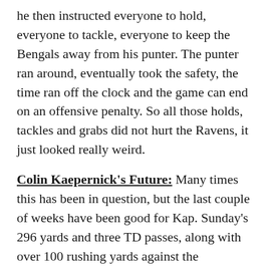he then instructed everyone to hold, everyone to tackle, everyone to keep the Bengals away from his punter. The punter ran around, eventually took the safety, the time ran off the clock and the game can end on an offensive penalty. So all those holds, tackles and grabs did not hurt the Ravens, it just looked really weird.
Colin Kaepernick's Future: Many times this has been in question, but the last couple of weeks have been good for Kap. Sunday's 296 yards and three TD passes, along with over 100 rushing yards against the Dolphins, has quieted the Kaepernick doubters. Certainly, he is not the most polished QB in the NFL, but he looks like he clearly belongs - even if he ends up being on another team in 2017. The point is, he will be playing QB somewhere next season.